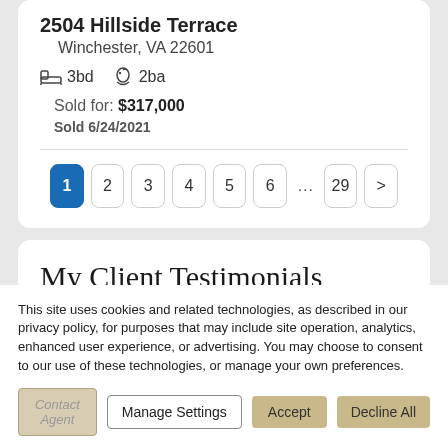2504 Hillside Terrace
Winchester, VA 22601
3bd  2ba
Sold for: $317,000
Sold 6/24/2021
1  2  3  4  5  6  ...  29  >
My Client Testimonials
This site uses cookies and related technologies, as described in our privacy policy, for purposes that may include site operation, analytics, enhanced user experience, or advertising. You may choose to consent to our use of these technologies, or manage your own preferences.
Contact Agent  Manage Settings  Accept  Decline All